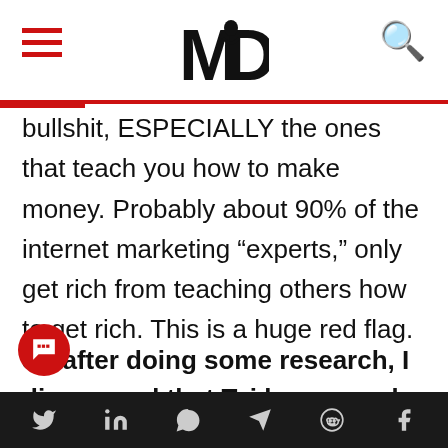MD (logo with hamburger menu and search icon)
bullshit, ESPECIALLY the ones that teach you how to make money. Probably about 90% of the internet marketing “experts,” only get rich from teaching others how to get rich. This is a huge red flag.
So after doing some research, I discovered that Tai has owned several
social share icons: Twitter, LinkedIn, WhatsApp, Telegram, Reddit, Facebook